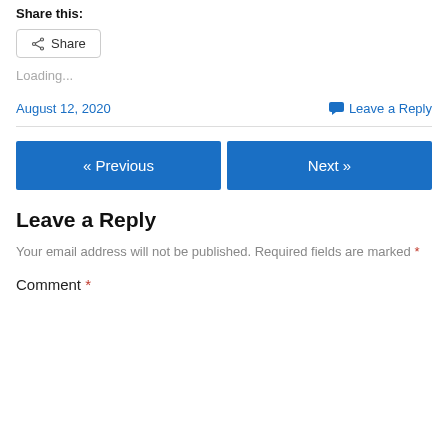Share this:
[Figure (other): Share button with share icon]
Loading...
August 12, 2020
Leave a Reply
« Previous
Next »
Leave a Reply
Your email address will not be published. Required fields are marked *
Comment *